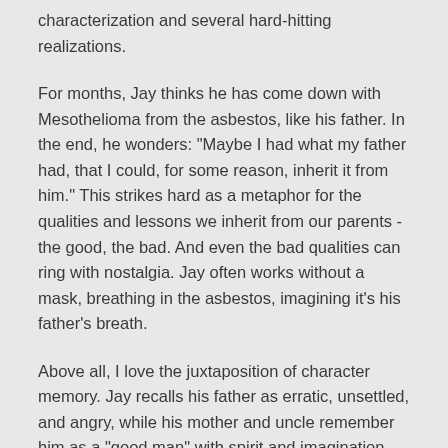characterization and several hard-hitting realizations.
For months, Jay thinks he has come down with Mesothelioma from the asbestos, like his father. In the end, he wonders: "Maybe I had what my father had, that I could, for some reason, inherit it from him." This strikes hard as a metaphor for the qualities and lessons we inherit from our parents - the good, the bad. And even the bad qualities can ring with nostalgia. Jay often works without a mask, breathing in the asbestos, imagining it's his father's breath.
Above all, I love the juxtaposition of character memory. Jay recalls his father as erratic, unsettled, and angry, while his mother and uncle remember him as a "good man" with spirit and imagination. One person can have many faces in a lifetime, and each of us can impact the people close to us in so many different ways. By the end of the story, we see Jay's memory has transformed simply because he wills it to.